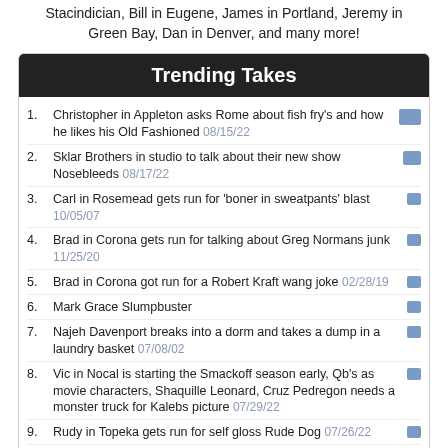Stacindician, Bill in Eugene, James in Portland, Jeremy in Green Bay, Dan in Denver, and many more!
Trending Takes
Christopher in Appleton asks Rome about fish fry's and how he likes his Old Fashioned 08/15/22
Sklar Brothers in studio to talk about their new show Nosebleeds 08/17/22
Carl in Rosemead gets run for 'boner in sweatpants' blast 10/05/07
Brad in Corona gets run for talking about Greg Normans junk 11/25/20
Brad in Corona got run for a Robert Kraft wang joke 02/28/19
Mark Grace Slumpbuster
Najeh Davenport breaks into a dorm and takes a dump in a laundry basket 07/08/02
Vic in Nocal is starting the Smackoff season early, Qb's as movie characters, Shaquille Leonard, Cruz Pedregon needs a monster truck for Kalebs picture 07/29/22
Rudy in Topeka gets run for self gloss Rude Dog 07/26/22
Harry Caray-Hideki Irabu
Random Take